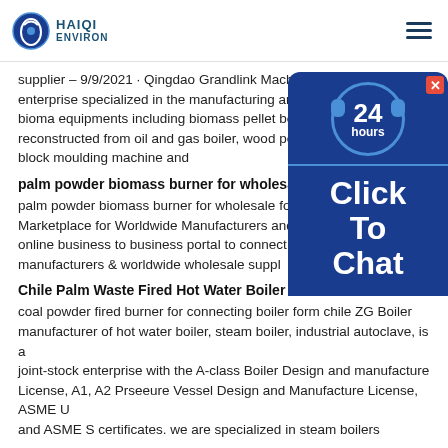HAIQI ENVIRON
supplier – 9/9/2021 · Qingdao Grandlink Machinery Co., Ltd. is an enterprise specialized in the manufacturing and marketing of series biomass equipments including biomass pellet boiler, pellet boiler, pellet reconstructed from oil and gas boiler, wood pellet forming mac pellet block moulding machine and
palm powder biomass burner for wholesale form belgiu
palm powder biomass burner for wholesale form belgium Globa Marketplace for Worldwide Manufacturers and Whole eWorldTr best online business to business portal to connect with intern manufacturers & worldwide wholesale suppl
Chile Palm Waste Fired Hot Water Boiler
coal powder fired burner for connecting boiler form chile ZG Boiler manufacturer of hot water boiler, steam boiler, industrial autoclave, is a joint-stock enterprise with the A-class Boiler Design and manufacture License, A1, A2 Prseeure Vessel Design and Manufacture License, ASME U and ASME S certificates. we are specialized in steam boilers
biomass sawdust burner boiler oem and&manufacturing form